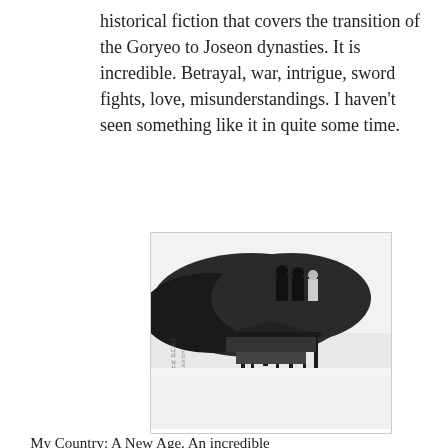historical fiction that covers the transition of the Goryeo to Joseon dynasties. It is incredible. Betrayal, war, intrigue, sword fights, love, misunderstandings. I haven't seen something like it in quite some time.
[Figure (photo): Black and white promotional poster for the South Korean historical drama 'My Country: A New Age' (나의 나라). Shows three figures standing on a dark hillside at top, with ink-drip artistic elements and a traditional Korean building in the middle, Korean text and title calligraphy at the bottom.]
My Country: A New Age. An incredible South Korean